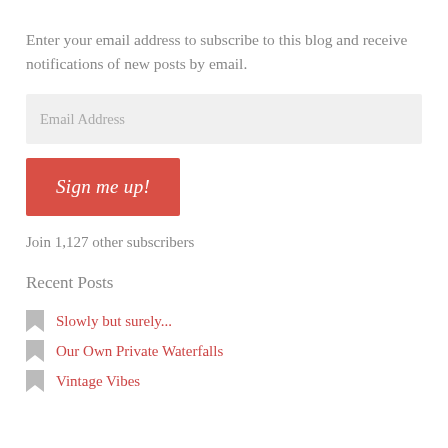Enter your email address to subscribe to this blog and receive notifications of new posts by email.
Email Address
Sign me up!
Join 1,127 other subscribers
Recent Posts
Slowly but surely...
Our Own Private Waterfalls
Vintage Vibes